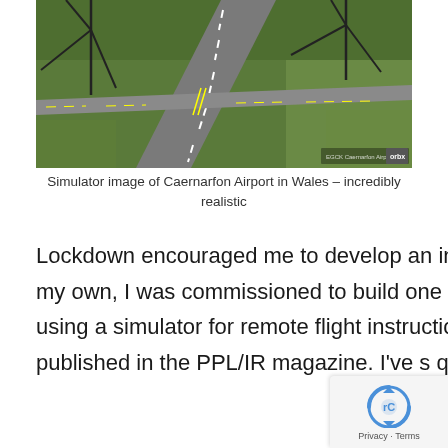[Figure (photo): Flight simulator screenshot of Caernarfon Airport in Wales showing runway intersection, taxiways and surrounding green fields from an aerial perspective. Wind turbines visible. Orbx branding in lower right corner.]
Simulator image of Caernarfon Airport in Wales – incredibly realistic
Lockdown encouraged me to develop an interest in Flight Simulators. After configuring my own, I was commissioned to build one for the Brize Flying Club. I experimented with using a simulator for remote flight instruction and wrote/collated a number of articles published in the PPL/IR magazine. I've s quite a bit of time learning how to create and